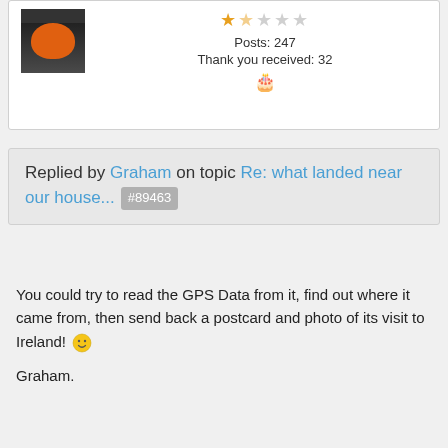[Figure (photo): User avatar showing a dark background with an orange shape, cropped at top]
Posts: 247
Thank you received: 32
[Figure (illustration): Birthday cake icon]
Replied by Graham on topic Re: what landed near our house... #89463
You could try to read the GPS Data from it, find out where it came from, then send back a postcard and photo of its visit to Ireland! 🙂
Graham.